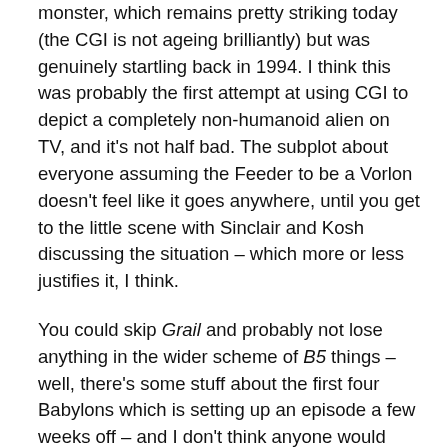monster, which remains pretty striking today (the CGI is not ageing brilliantly) but was genuinely startling back in 1994. I think this was probably the first attempt at using CGI to depict a completely non-humanoid alien on TV, and it's not half bad. The subplot about everyone assuming the Feeder to be a Vorlon doesn't feel like it goes anywhere, until you get to the little scene with Sinclair and Kosh discussing the situation – which more or less justifies it, I think.

You could skip Grail and probably not lose anything in the wider scheme of B5 things – well, there's some stuff about the first four Babylons which is setting up an episode a few weeks off – and I don't think anyone would argue this is one of the episodes you'd show a friend to make them want to watch the show regularly. But, like I say, it isn't really like anything else on TV, and that kind of uniqueness